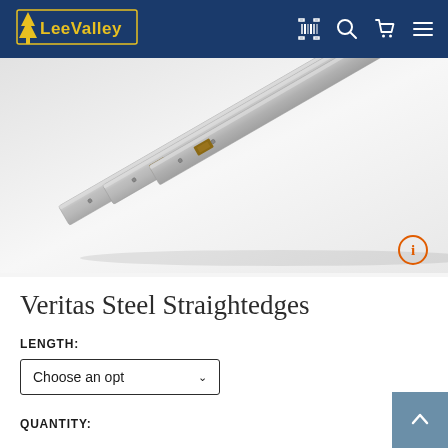Lee Valley Tools - Navigation header with logo, barcode scanner, search, cart, and menu icons
[Figure (photo): Three Veritas steel straightedges shown diagonally arranged on a light gray background. The straightedges are long flat metal rulers with a bronze/copper colored inset block near one end.]
Veritas Steel Straightedges
LENGTH:
Choose an option
QUANTITY: